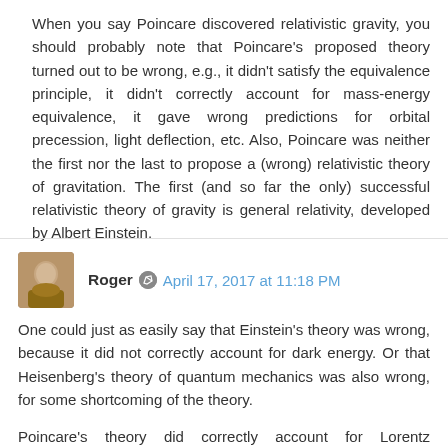When you say Poincare discovered relativistic gravity, you should probably note that Poincare's proposed theory turned out to be wrong, e.g., it didn't satisfy the equivalence principle, it didn't correctly account for mass-energy equivalence, it gave wrong predictions for orbital precession, light deflection, etc. Also, Poincare was neither the first nor the last to propose a (wrong) relativistic theory of gravitation. The first (and so far the only) successful relativistic theory of gravity is general relativity, developed by Albert Einstein.
Reply
Roger  April 17, 2017 at 11:18 PM
One could just as easily say that Einstein's theory was wrong, because it did not correctly account for dark energy. Or that Heisenberg's theory of quantum mechanics was also wrong, for some shortcoming of the theory.
Poincare's theory did correctly account for Lorentz transformations, and the finite propagation speed of